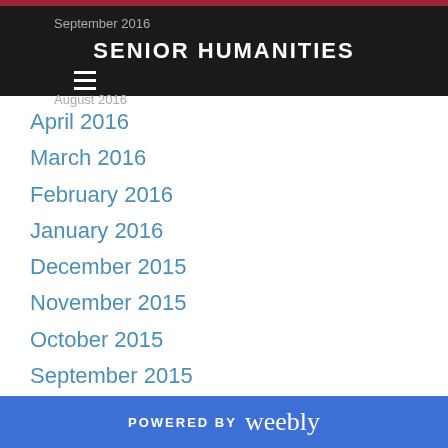SENIOR HUMANITIES
September 2016
August 2016
April 2016
March 2016
February 2016
January 2016
December 2015
November 2015
October 2015
September 2015
August 2015
Categories
All
POWERED BY weebly